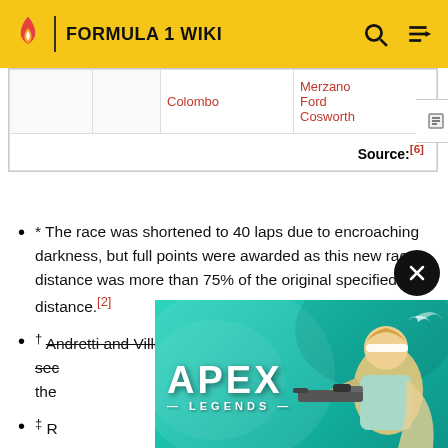FORMULA 1 WIKI
|  |  | Colombo | Merzano
Ford
Cosworth |
|  |  |  | Source:[6] |
* The race was shortened to 40 laps due to encroaching darkness, but full points were awarded as this new race distance was more than 75% of the original specified distance.[2]
† Andretti and Villeneuve were both penalised 60 seconds... alty the...
‡ R... ed to con...
[Figure (illustration): Apex Legends advertisement banner with character holding a sniper rifle against teal background]